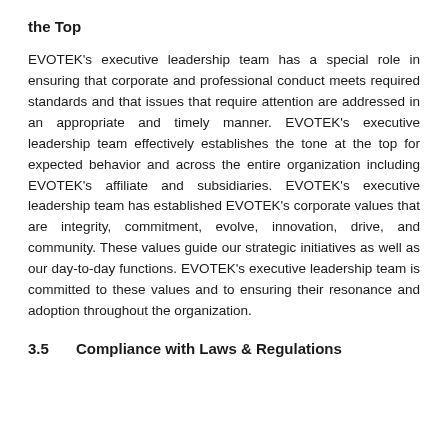the Top
EVOTEK's executive leadership team has a special role in ensuring that corporate and professional conduct meets required standards and that issues that require attention are addressed in an appropriate and timely manner. EVOTEK's executive leadership team effectively establishes the tone at the top for expected behavior and across the entire organization including EVOTEK's affiliate and subsidiaries. EVOTEK's executive leadership team has established EVOTEK's corporate values that are integrity, commitment, evolve, innovation, drive, and community. These values guide our strategic initiatives as well as our day-to-day functions. EVOTEK's executive leadership team is committed to these values and to ensuring their resonance and adoption throughout the organization.
3.5   Compliance with Laws & Regulations